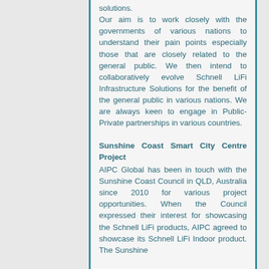solutions. Our aim is to work closely with the governments of various nations to understand their pain points especially those that are closely related to the general public. We then intend to collaboratively evolve Schnell LiFi Infrastructure Solutions for the benefit of the general public in various nations. We are always keen to engage in Public-Private partnerships in various countries.
Sunshine Coast Smart City Centre Project
AIPC Global has been in touch with the Sunshine Coast Council in QLD, Australia since 2010 for various project opportunities. When the Council expressed their interest for showcasing the Schnell LiFi products, AIPC agreed to showcase its Schnell LiFi Indoor product. The Sunshine